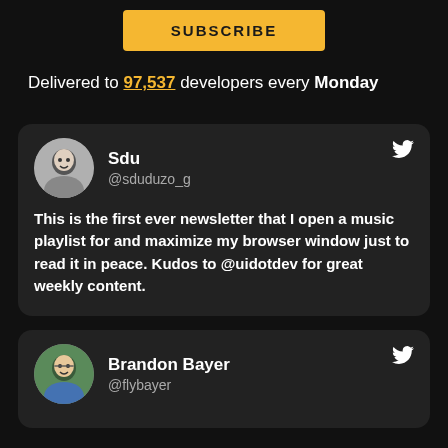SUBSCRIBE
Delivered to 97,537 developers every Monday
Sdu @sduduzo_g
This is the first ever newsletter that I open a music playlist for and maximize my browser window just to read it in peace. Kudos to @uidotdev for great weekly content.
Brandon Bayer @flybayer